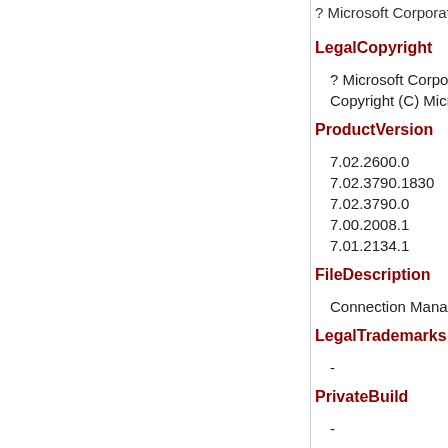? Microsoft Corporation
LegalCopyright
? Microsoft Corporation. All rights reserved.
Copyright (C) Microsoft Corp. 1981-1999
ProductVersion
7.02.2600.0
7.02.3790.1830
7.02.3790.0
7.00.2008.1
7.01.2134.1
FileDescription
Connection Manager Library
LegalTrademarks
-
PrivateBuild
-
OriginalFilename